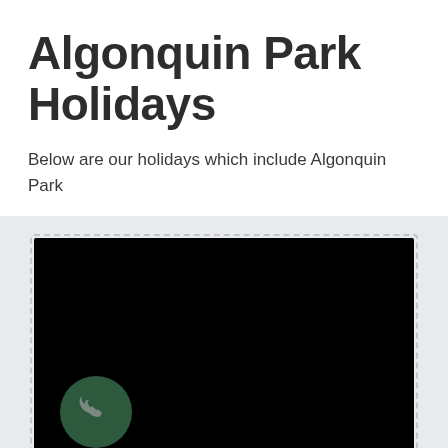Algonquin Park Holidays
Below are our holidays which include Algonquin Park
[Figure (screenshot): A dark/black media player or video embed area with a dark green circular phone/call button icon in the lower left corner, presented inside a card with a dashed border on a light grey background.]